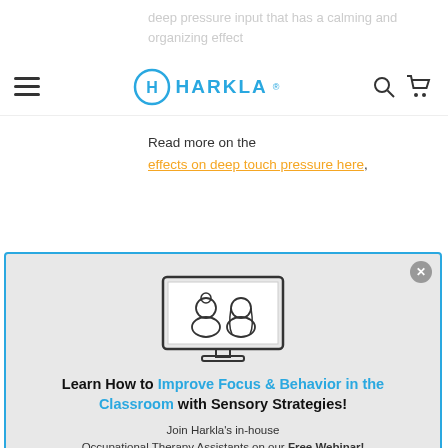deep pressure input that has a calming and organizing effect
HARKLA
Read more on the effects on deep touch pressure here,
[Figure (screenshot): Harkla website modal popup with webinar illustration showing two people on a monitor screen, promotional text, orange CTA button, and close button]
Learn How to Improve Focus & Behavior in the Classroom with Sensory Strategies!
Join Harkla's in-house Occupational Therapy Assistants on our Free Webinar!
LEARN MORE HERE
Comes with free PDF Downloads to use in your class!